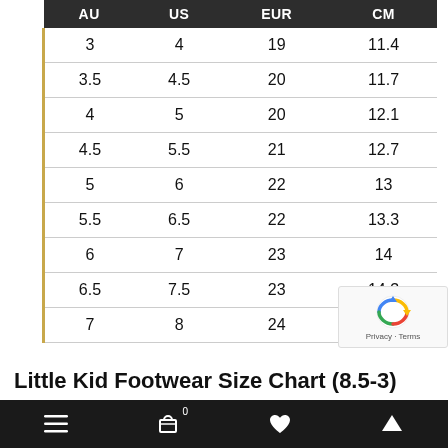| AU | US | EUR | CM |
| --- | --- | --- | --- |
| 3 | 4 | 19 | 11.4 |
| 3.5 | 4.5 | 20 | 11.7 |
| 4 | 5 | 20 | 12.1 |
| 4.5 | 5.5 | 21 | 12.7 |
| 5 | 6 | 22 | 13 |
| 5.5 | 6.5 | 22 | 13.3 |
| 6 | 7 | 23 | 14 |
| 6.5 | 7.5 | 23 | 14.3 |
| 7 | 8 | 24 | 14.6 |
Little Kid Footwear Size Chart (8.5-3)
Navigation bar with menu, cart, favorite, and up icons